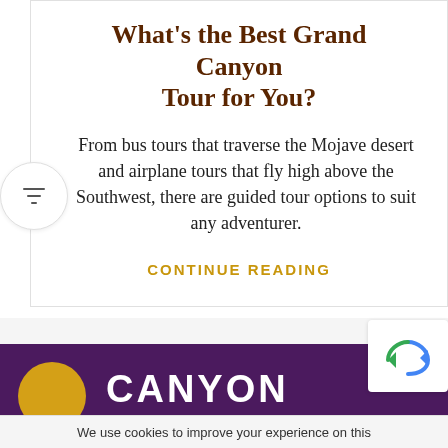What's the Best Grand Canyon Tour for You?
From bus tours that traverse the Mojave desert and airplane tours that fly high above the Southwest, there are guided tour options to suit any adventurer.
CONTINUE READING
[Figure (logo): Canyon logo with gold circle and CANYON text in white on purple background]
We use cookies to improve your experience on this